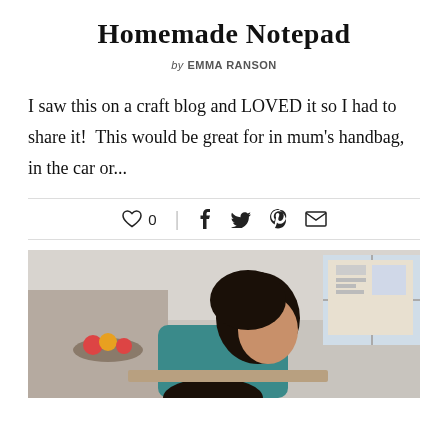Homemade Notepad
by EMMA RANSON
I saw this on a craft blog and LOVED it so I had to share it!  This would be great for in mum's handbag, in the car or...
[Figure (photo): A woman with dark hair looking down, seated at a table, with a child visible in the foreground. Background shows a kitchen/home setting with a window and bulletin board.]